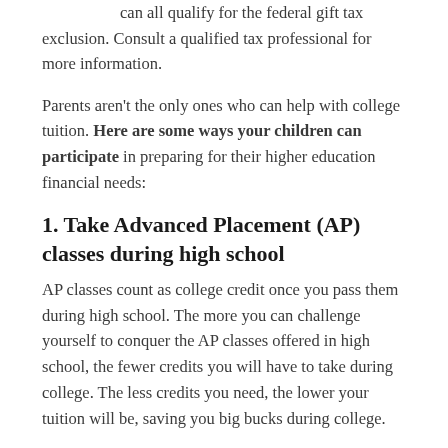can all qualify for the federal gift tax exclusion. Consult a qualified tax professional for more information.
Parents aren't the only ones who can help with college tuition. Here are some ways your children can participate in preparing for their higher education financial needs:
1. Take Advanced Placement (AP) classes during high school
AP classes count as college credit once you pass them during high school. The more you can challenge yourself to conquer the AP classes offered in high school, the fewer credits you will have to take during college. The less credits you need, the lower your tuition will be, saving you big bucks during college.